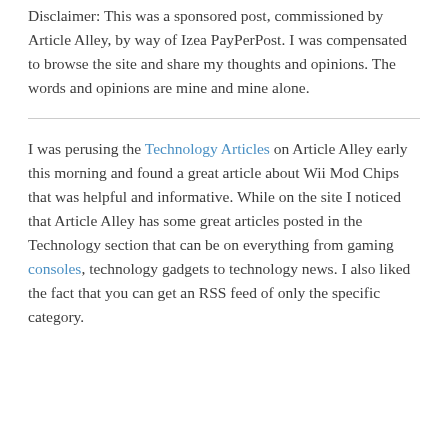Disclaimer: This was a sponsored post, commissioned by Article Alley, by way of Izea PayPerPost. I was compensated to browse the site and share my thoughts and opinions. The words and opinions are mine and mine alone.
I was perusing the Technology Articles on Article Alley early this morning and found a great article about Wii Mod Chips that was helpful and informative. While on the site I noticed that Article Alley has some great articles posted in the Technology section that can be on everything from gaming consoles, technology gadgets to technology news. I also liked the fact that you can get an RSS feed of only the specific category.